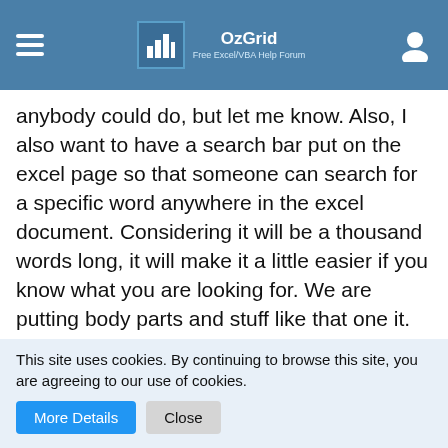OzGrid — Free Excel/VBA Help Forum
anybody could do, but let me know. Also, I also want to have a search bar put on the excel page so that someone can search for a specific word anywhere in the excel document. Considering it will be a thousand words long, it will make it a little easier if you know what you are looking for. We are putting body parts and stuff like that one it. (Eyes, Head, Ears, Mouth, Arms, Legs, Toes, Fingers) Along with the veins, nerves, and muscles.
royUK
This site uses cookies. By continuing to browse this site, you are agreeing to our use of cookies.